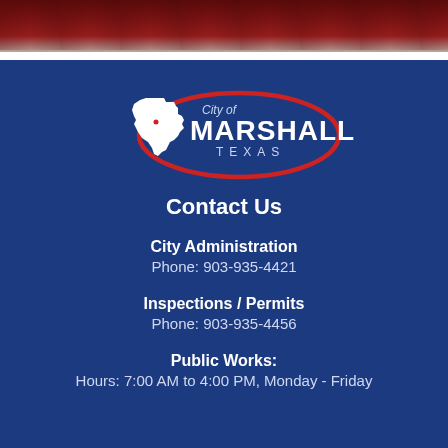[Figure (photo): Dark red/maroon header image showing city skyline or buildings]
[Figure (logo): City of Marshall Texas logo — white Texas state outline with red oval swoosh and text 'City of MARSHALL TEXAS']
Contact Us
City Administration
Phone: 903-935-4421
Inspections / Permits
Phone: 903-935-4456
Public Works:
Hours: 7:00 AM to 4:00 PM, Monday - Friday